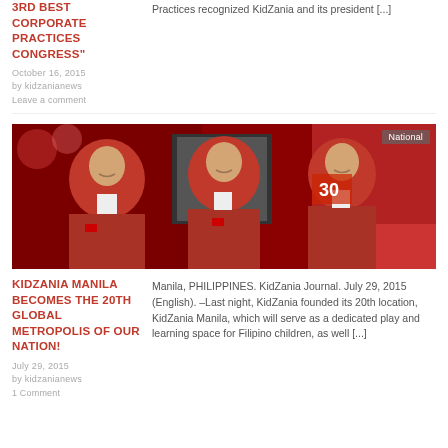3RD BEST CORPORATE PRACTICES CONGRESS"
October 16, 2015
by kidzanianews
Leave a comment
Practices recognized KidZania and its president [...]
[Figure (photo): Three KidZania staff members wearing red blazers and white shirts, smiling and posing inside a KidZania location with red decor and a display screen in the background. Badge reads 'National'.]
KIDZANIA MANILA BECOMES THE 20TH GLOBAL METROPOLIS OF OUR NATION!
July 29, 2015
by kidzanianews
1 Comment
Manila, PHILIPPINES. KidZania Journal. July 29, 2015 (English). –Last night, KidZania founded its 20th location, KidZania Manila, which will serve as a dedicated play and learning space for Filipino children, as well [...]